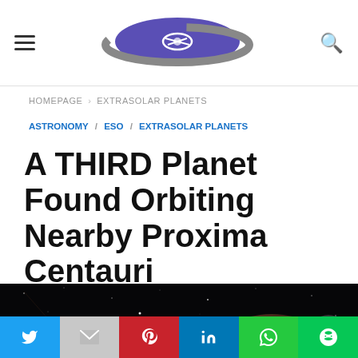HOMEPAGE > EXTRASOLAR PLANETS
ASTRONOMY / ESO / EXTRASOLAR PLANETS
A THIRD Planet Found Orbiting Nearby Proxima Centauri
[Figure (photo): Space illustration showing Proxima Centauri star and a nearby planet in a dark starfield]
Social share buttons: Twitter, Gmail, Pinterest, LinkedIn, WhatsApp, LINE